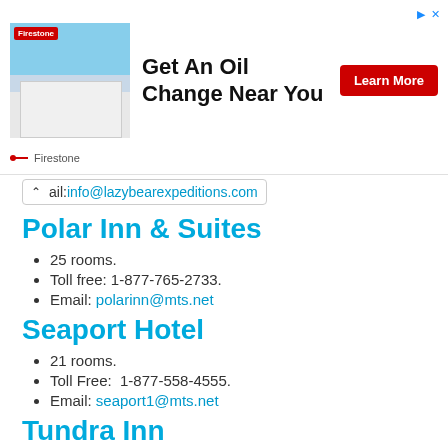[Figure (screenshot): Advertisement banner for Firestone oil change service with building photo, text 'Get An Oil Change Near You', and red 'Learn More' button]
Email: info@lazybearexpeditions.com
Polar Inn & Suites
25 rooms.
Toll free: 1-877-765-2733.
Email: polarinn@mts.net
Seaport Hotel
21 rooms.
Toll Free:  1-877-558-4555.
Email: seaport1@mts.net
Tundra Inn